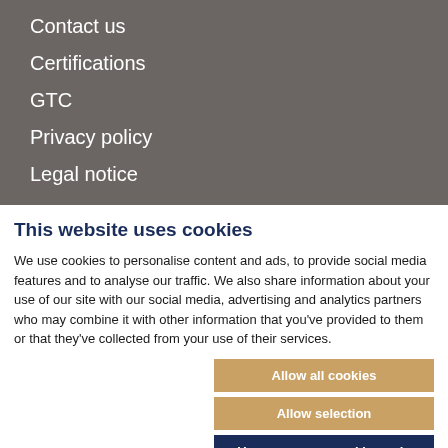Contact us
Certifications
GTC
Privacy policy
Legal notice
This website uses cookies
We use cookies to personalise content and ads, to provide social media features and to analyse our traffic. We also share information about your use of our site with our social media, advertising and analytics partners who may combine it with other information that you've provided to them or that they've collected from your use of their services.
Allow all cookies
Allow selection
Use necessary cookies only
Necessary   Preferences   Statistics   Marketing   Show details